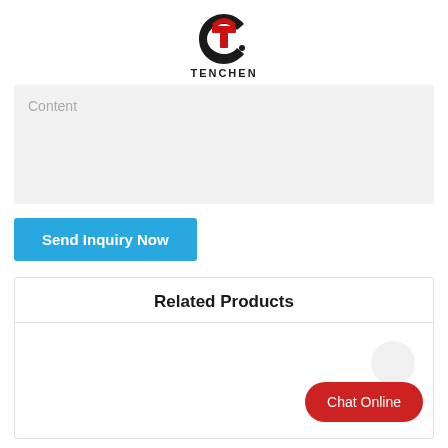[Figure (logo): TENCHEN company logo with stylized T/C emblem in red and black]
Content
Send Inquiry Now
Related Products
Chat Online